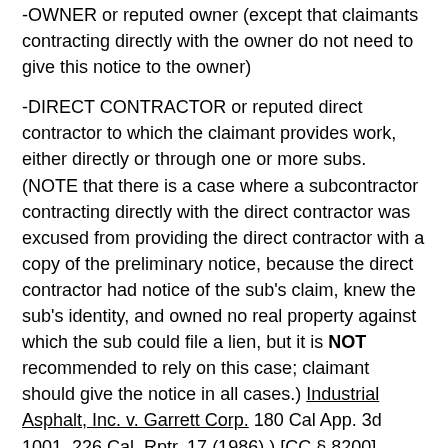-OWNER or reputed owner (except that claimants contracting directly with the owner do not need to give this notice to the owner)
-DIRECT CONTRACTOR or reputed direct contractor to which the claimant provides work, either directly or through one or more subs. (NOTE that there is a case where a subcontractor contracting directly with the direct contractor was excused from providing the direct contractor with a copy of the preliminary notice, because the direct contractor had notice of the sub's claim, knew the sub's identity, and owned no real property against which the sub could file a lien, but it is NOT recommended to rely on this case; claimant should give the notice in all cases.) Industrial Asphalt, Inc. v. Garrett Corp. 180 Cal App. 3d 1001, 226 Cal. Rptr. 17 (1986).) [CC § 8200]
-CONSTRUCTION LENDER or reputed construction lender, if any. [CC § 8200]